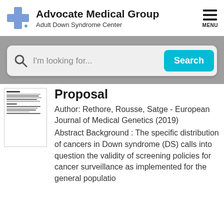[Figure (logo): Advocate Medical Group logo with blue cross icon and text 'Advocate Medical Group / Adult Down Syndrome Center' and hamburger menu icon labeled MENU]
[Figure (screenshot): Search bar with magnifying glass icon and placeholder text 'I'm looking for...' and cyan Search button on gray background]
Proposal
Author: Rethore, Rousse, Satge - European Journal of Medical Genetics (2019)
Abstract Background : The specific distribution of cancers in Down syndrome (DS) calls into question the validity of screening policies for cancer surveillance as implemented for the general populatio